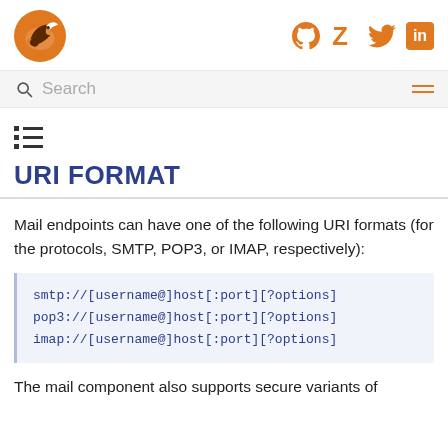Apache Camel documentation — social icons: GitHub, Zulip, Twitter, LinkedIn
Search
[Figure (other): TOC list icon]
URI FORMAT
Mail endpoints can have one of the following URI formats (for the protocols, SMTP, POP3, or IMAP, respectively):
smtp://[username@]host[:port][?options]
pop3://[username@]host[:port][?options]
imap://[username@]host[:port][?options]
The mail component also supports secure variants of